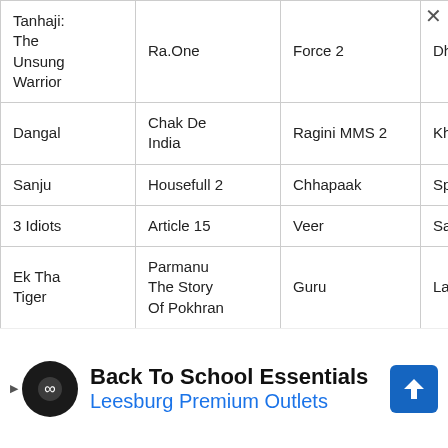| Tanhaji: The Unsung Warrior | Ra.One | Force 2 | Dhoom 3 |
| Dangal | Chak De India | Ragini MMS 2 | Khatta Mee... |
| Sanju | Housefull 2 | Chhapaak | Special 26 |
| 3 Idiots | Article 15 | Veer | Satyameva... |
| Ek Tha Tiger | Parmanu The Story Of Pokhran | Guru | Lagaan |
[Figure (infographic): Advertisement banner: Back To School Essentials - Leesburg Premium Outlets, with logo and navigation icon]